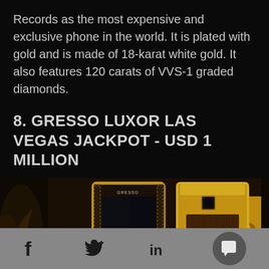Records as the most expensive and exclusive phone in the world. It is plated with gold and is made of 18-karat white gold. It also features 120 carats of VVS-1 graded diamonds.
8. GRESSO LUXOR LAS VEGAS JACKPOT - USD 1 MILLION
[Figure (photo): Two Gresso Luxor Las Vegas Jackpot phones displayed side by side — left phone is dark with gold border trim and Gresso branding, right phone has a dark wood panel body with gold frame and Gresso branding, shown against a warm dark luxurious background.]
f  [Twitter bird icon]  in  [chat bubble icon]